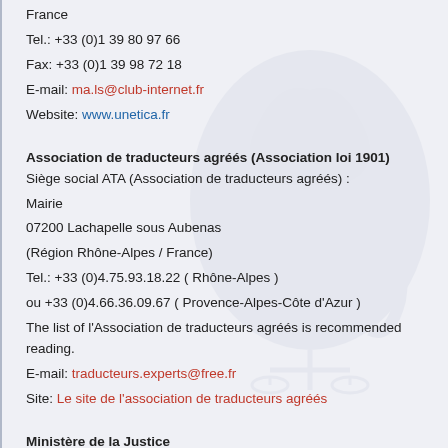France
Tel.: +33 (0)1 39 80 97 66
Fax: +33 (0)1 39 98 72 18
E-mail: ma.ls@club-internet.fr
Website: www.unetica.fr
Association de traducteurs agréés (Association loi 1901)
Siège social ATA (Association de traducteurs agréés) :
Mairie
07200 Lachapelle sous Aubenas
(Région Rhône-Alpes / France)
Tel.: +33 (0)4.75.93.18.22 ( Rhône-Alpes )
ou +33 (0)4.66.36.09.67 ( Provence-Alpes-Côte d'Azur )
The list of l'Association de traducteurs agréés is recommended reading.
E-mail: traducteurs.experts@free.fr
Site: Le site de l'association de traducteurs agréés
Ministère de la Justice
Site: www.justice.gouv.fr